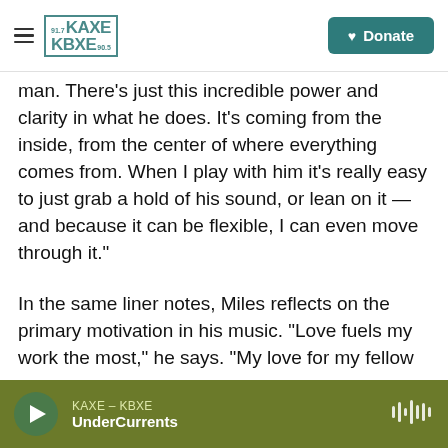KAXE 91.7 KBXE 90.5 | Donate
man. There's just this incredible power and clarity in what he does. It's coming from the inside, from the center of where everything comes from. When I play with him it's really easy to just grab a hold of his sound, or lean on it — and because it can be flexible, I can even move through it."
In the same liner notes, Miles reflects on the primary motivation in his music. "Love fuels my work the most," he says. "My love for my fellow musicians. My love for my audience. My love for the tradition that I'm a part of."
That feeling manifests throughout Miles' recorded
KAXE – KBXE | UnderCurrents